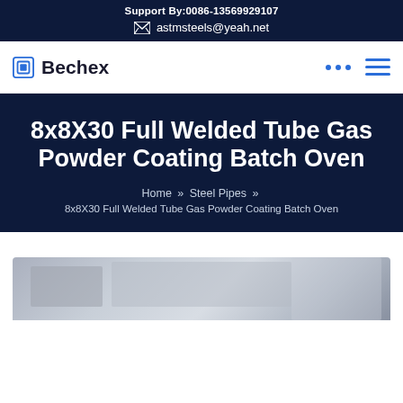Support By:0086-13569929107
astmsteels@yeah.net
Bechex
8x8X30 Full Welded Tube Gas Powder Coating Batch Oven
Home » Steel Pipes » 8x8X30 Full Welded Tube Gas Powder Coating Batch Oven
[Figure (photo): Partial photo of what appears to be industrial equipment related to a powder coating batch oven]